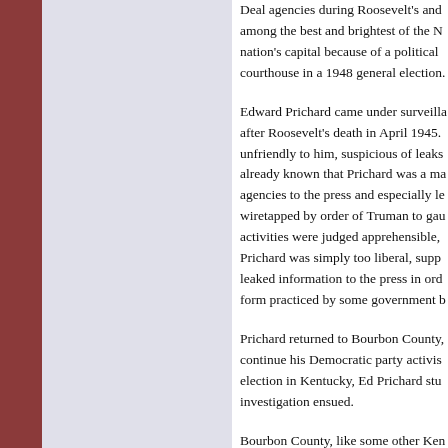Deal agencies during Roosevelt's and among the best and brightest of the N nation's capital because of a political courthouse in a 1948 general election.
Edward Prichard came under surveilla after Roosevelt's death in April 1945. unfriendly to him, suspicious of leaks already known that Prichard was a ma agencies to the press and especially le wiretapped by order of Truman to gau activities were judged apprehensible, Prichard was simply too liberal, supp leaked information to the press in ord form practiced by some government b
Prichard returned to Bourbon County, continue his Democratic party activis election in Kentucky, Ed Prichard stu investigation ensued.
Bourbon County, like some other Ken and fraud not totally stamped out. In s advice as a friend and lawyer and con